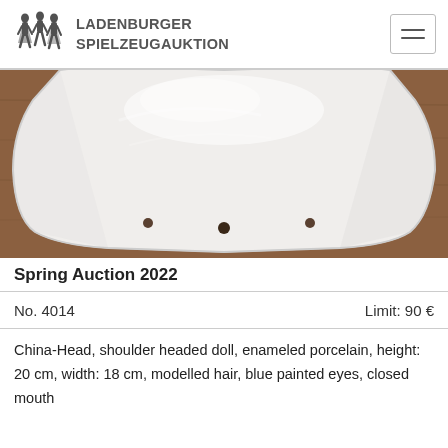LADENBURGER SPIELZEUGAUKTION
[Figure (photo): Back view of a white enameled porcelain shoulder-head doll head plate against a brown wooden background. Three small holes visible on the lower edge.]
Spring Auction 2022
No. 4014	Limit: 90 €
China-Head, shoulder headed doll, enameled porcelain, height: 20 cm, width: 18 cm, modelled hair, blue painted eyes, closed mouth